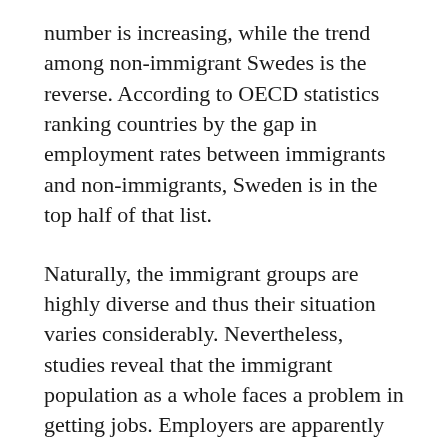number is increasing, while the trend among non-immigrant Swedes is the reverse. According to OECD statistics ranking countries by the gap in employment rates between immigrants and non-immigrants, Sweden is in the top half of that list.
Naturally, the immigrant groups are highly diverse and thus their situation varies considerably. Nevertheless, studies reveal that the immigrant population as a whole faces a problem in getting jobs. Employers are apparently less willing to employ applicants with “non-typical Swedish names,” while immigrants cannot count on their educational credentials being accepted in Sweden.5